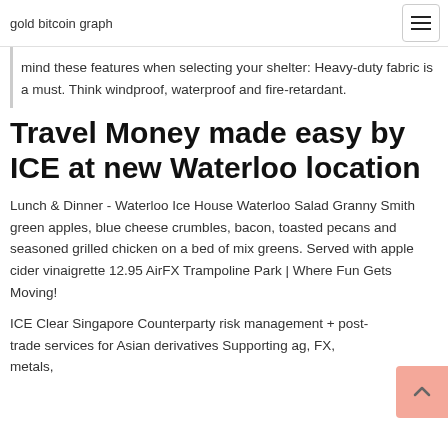gold bitcoin graph
mind these features when selecting your shelter: Heavy-duty fabric is a must. Think windproof, waterproof and fire-retardant.
Travel Money made easy by ICE at new Waterloo location
Lunch & Dinner - Waterloo Ice House Waterloo Salad Granny Smith green apples, blue cheese crumbles, bacon, toasted pecans and seasoned grilled chicken on a bed of mix greens. Served with apple cider vinaigrette 12.95 AirFX Trampoline Park | Where Fun Gets Moving!
ICE Clear Singapore Counterparty risk management + post-trade services for Asian derivatives Supporting ag, FX, metals,